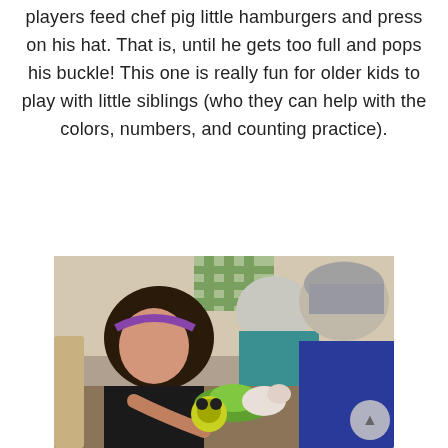players feed chef pig little hamburgers and press on his hat. That is, until he gets too full and pops his buckle! This one is really fun for older kids to play with little siblings (who they can help with the colors, numbers, and counting practice).
[Figure (photo): Two children playing together with a toy pig game on a table. A girl with a purple headband wearing a black shirt and a child in a blue shirt are leaning over the game.]